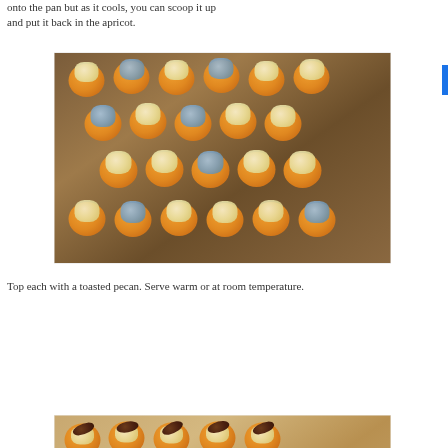onto the pan but as it cools, you can scoop it up and put it back in the apricot.
[Figure (photo): Baking tray with apricot halves topped with melted blue cheese, arranged in rows on a metal baking sheet]
Top each with a toasted pecan.  Serve warm or at room temperature.
[Figure (photo): Baking tray with apricot halves topped with toasted pecans and cheese, arranged on parchment paper]